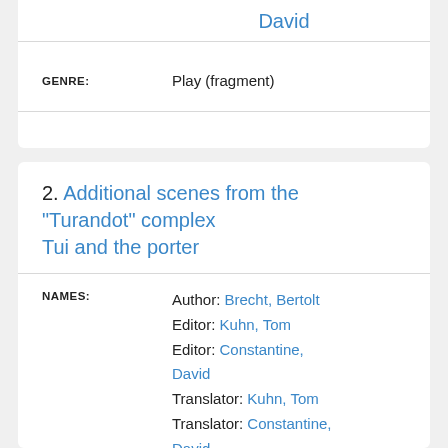David
| GENRE: | Play (fragment) |
| --- | --- |
2. Additional scenes from the "Turandot" complex Tui and the porter
| NAMES: |  |
| --- | --- |
| Author: | Brecht, Bertolt |
| Editor: | Kuhn, Tom |
| Editor: | Constantine, David |
| Translator: | Kuhn, Tom |
| Translator: | Constantine, David |
Play (fragment)